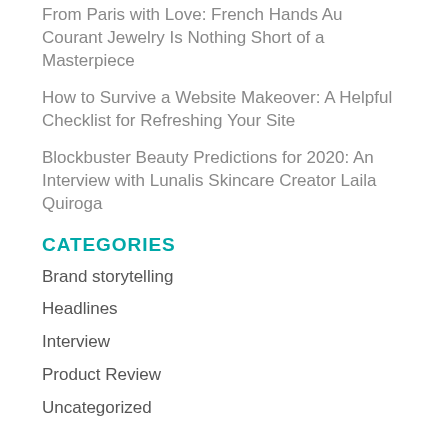From Paris with Love: French Hands Au Courant Jewelry Is Nothing Short of a Masterpiece
How to Survive a Website Makeover: A Helpful Checklist for Refreshing Your Site
Blockbuster Beauty Predictions for 2020: An Interview with Lunalis Skincare Creator Laila Quiroga
CATEGORIES
Brand storytelling
Headlines
Interview
Product Review
Uncategorized